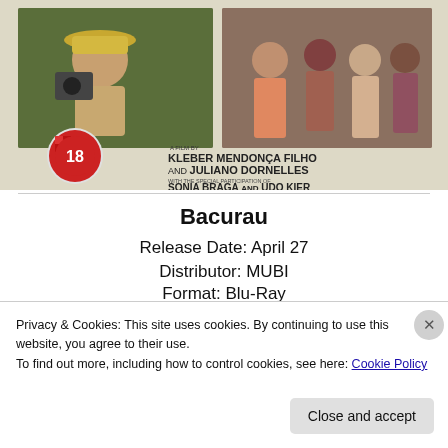[Figure (photo): Blu-ray/DVD product cover for Bacurau — a film by Kleber Mendonça Filho and Juliano Dornelles, with the special participation of Sonia Braga and Udo Kier. Shows two film stills: a man with a camera wearing a straw hat, and a group of Brazilian villagers. UK 18 certificate badge visible.]
Bacurau
Release Date: April 27
Distributor: MUBI
Format: Blu-Ray
Privacy & Cookies: This site uses cookies. By continuing to use this website, you agree to their use.
To find out more, including how to control cookies, see here: Cookie Policy